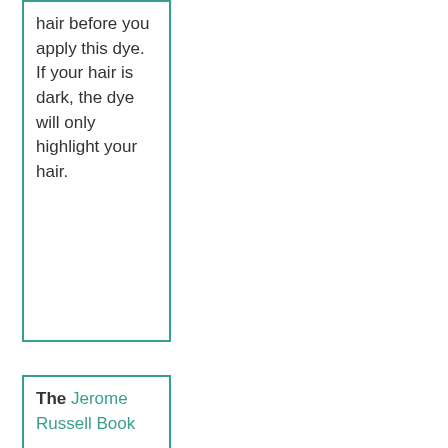hair before you apply this dye. If your hair is dark, the dye will only highlight your hair.
The Jerome Russell Book...